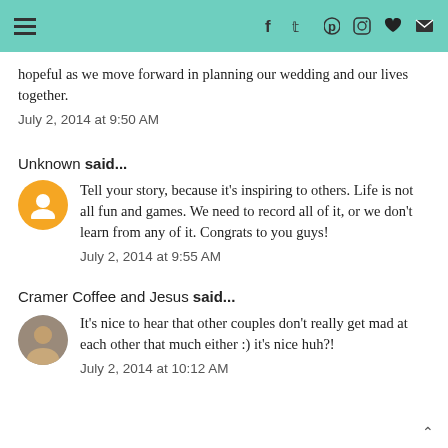Navigation bar with hamburger menu and social icons: f, twitter, pinterest, instagram, heart, email
hopeful as we move forward in planning our wedding and our lives together.
July 2, 2014 at 9:50 AM
Unknown said...
Tell your story, because it's inspiring to others. Life is not all fun and games. We need to record all of it, or we don't learn from any of it. Congrats to you guys!
July 2, 2014 at 9:55 AM
Cramer Coffee and Jesus said...
It's nice to hear that other couples don't really get mad at each other that much either :) it's nice huh?!
July 2, 2014 at 10:12 AM